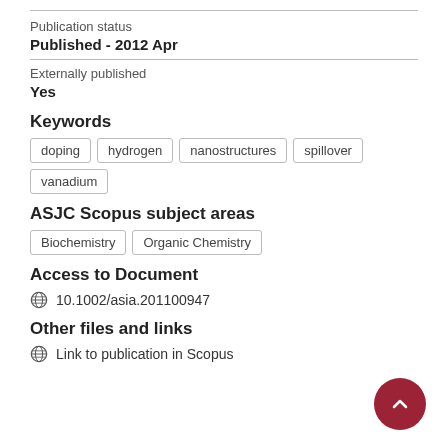Publication status
Published - 2012 Apr
Externally published
Yes
Keywords
doping
hydrogen
nanostructures
spillover
vanadium
ASJC Scopus subject areas
Biochemistry
Organic Chemistry
Access to Document
10.1002/asia.201100947
Other files and links
Link to publication in Scopus